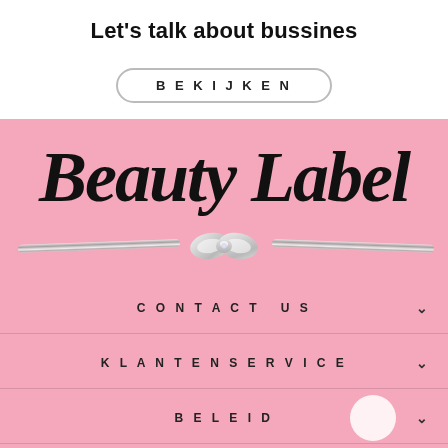Let's talk about bussines
BEKIJKEN
[Figure (logo): Beauty Label brand logo in script/italic font on pink background with silver ribbon and white bow]
CONTACT US
KLANTENSERVICE
BELEID
SIGN UP AND SAVE